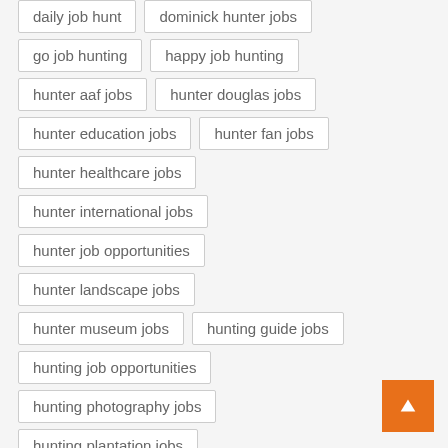daily job hunt
dominick hunter jobs
go job hunting
happy job hunting
hunter aaf jobs
hunter douglas jobs
hunter education jobs
hunter fan jobs
hunter healthcare jobs
hunter international jobs
hunter job opportunities
hunter landscape jobs
hunter museum jobs
hunting guide jobs
hunting job opportunities
hunting photography jobs
hunting plantation jobs
hunt personnel jobs
hunt refrigeration jobs
hunt regional jobs